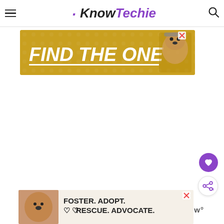KnowTechie
[Figure (screenshot): Advertisement banner with gold/yellow background reading 'FIND THE ONE' with a dog image and close X button]
[Figure (screenshot): Purple circular button with heart icon (like/save button) and share button below it]
[Figure (screenshot): Advertisement banner at bottom reading 'FOSTER. ADOPT. RESCUE. ADVOCATE.' with a dog image and close X button]